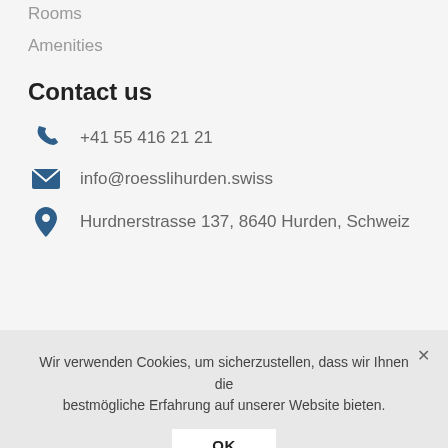Rooms
Amenities
Contact us
+41 55 416 21 21
info@roesslihurden.swiss
Hurdnerstrasse 137, 8640 Hurden, Schweiz
Wir verwenden Cookies, um sicherzustellen, dass wir Ihnen die bestmögliche Erfahrung auf unserer Website bieten.
OK